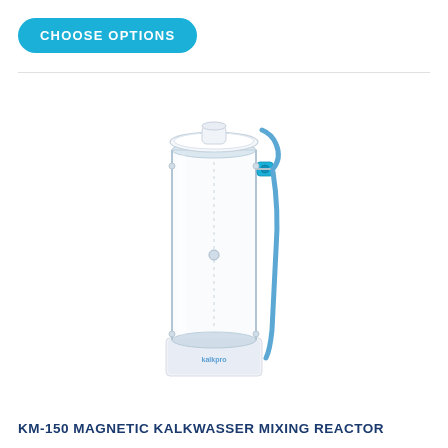CHOOSE OPTIONS
[Figure (photo): KM-150 Magnetic Kalkwasser Mixing Reactor product photo — a tall cylindrical clear acrylic tube mounted on a white square base, with a white cap on top, a blue valve/connector on the upper right side, and a blue flexible tube running down the outside. The base has a small logo.]
KM-150 MAGNETIC KALKWASSER MIXING REACTOR